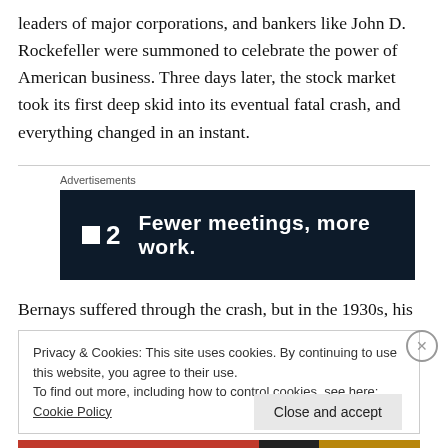leaders of major corporations, and bankers like John D. Rockefeller were summoned to celebrate the power of American business. Three days later, the stock market took its first deep skid into its eventual fatal crash, and everything changed in an instant.
[Figure (other): Advertisement banner for Plan 2 (P2) with text 'Fewer meetings, more work.' on a dark navy background with white text and logo.]
Bernays suffered through the crash, but in the 1930s, his
Privacy & Cookies: This site uses cookies. By continuing to use this website, you agree to their use.
To find out more, including how to control cookies, see here: Cookie Policy